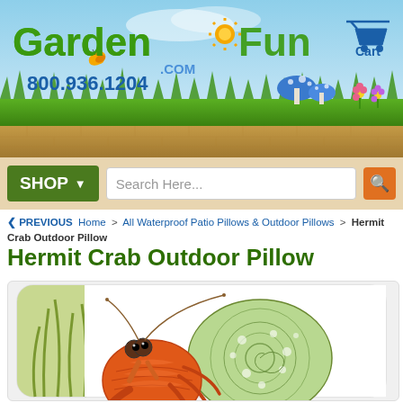[Figure (screenshot): GardenFun.com website header banner with logo, phone number 800.936.1204, shopping cart icon, grass, mushrooms, butterfly and sky background]
[Figure (screenshot): Navigation bar with green SHOP dropdown button and search field with orange search icon]
< PREVIOUS  Home > All Waterproof Patio Pillows & Outdoor Pillows > Hermit Crab Outdoor Pillow
Hermit Crab Outdoor Pillow
[Figure (photo): A decorative outdoor pillow featuring an illustrated hermit crab with colorful swirling shell patterns in green and orange tones on a white background]